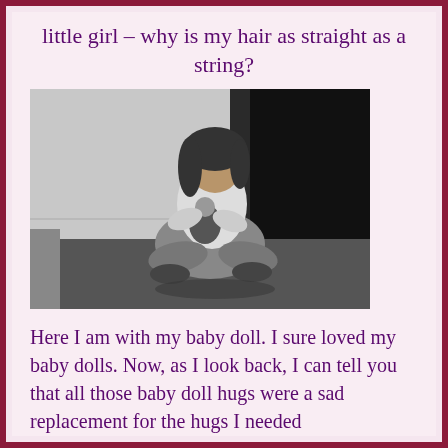little girl – why is my hair as straight as a string?
[Figure (photo): Black and white vintage photograph of a young girl sitting on the floor holding a baby doll, in a hallway or room setting]
Here I am with my baby doll. I sure loved my baby dolls. Now, as I look back, I can tell you that all those baby doll hugs were a sad replacement for the hugs I needed